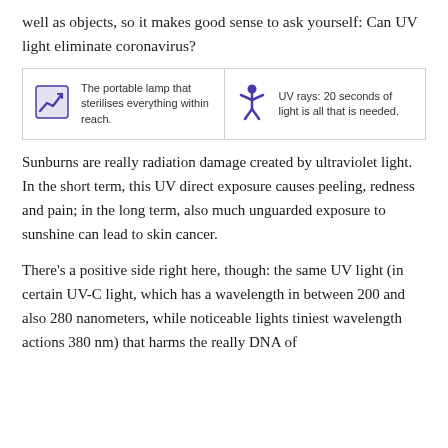well as objects, so it makes good sense to ask yourself: Can UV light eliminate coronavirus?
[Figure (infographic): Two-cell info box. Left cell: icon of a chart with upward arrow, text 'The portable lamp that sterilises everything within reach.' Right cell: icon of a person with arms raised, text 'UV rays: 20 seconds of light is all that is needed.']
Sunburns are really radiation damage created by ultraviolet light. In the short term, this UV direct exposure causes peeling, redness and pain; in the long term, also much unguarded exposure to sunshine can lead to skin cancer.
There’s a positive side right here, though: the same UV light (in certain UV-C light, which has a wavelength in between 200 and also 280 nanometers, while noticeable lights tiniest wavelength actions 380 nm) that harms the really DNA of